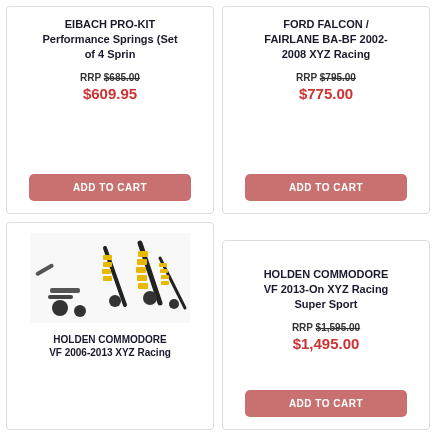EIBACH PRO-KIT Performance Springs (Set of 4 Sprin)
RRP $685.00
$609.95
ADD TO CART
FORD FALCON / FAIRLANE BA-BF 2002-2008 XYZ Racing
RRP $795.00
$775.00
ADD TO CART
[Figure (photo): Yellow and black coilover suspension kit components laid out on white background]
HOLDEN COMMODORE VF 2006-2013 XYZ Racing
HOLDEN COMMODORE VF 2013-On XYZ Racing Super Sport
RRP $1,595.00
$1,495.00
ADD TO CART